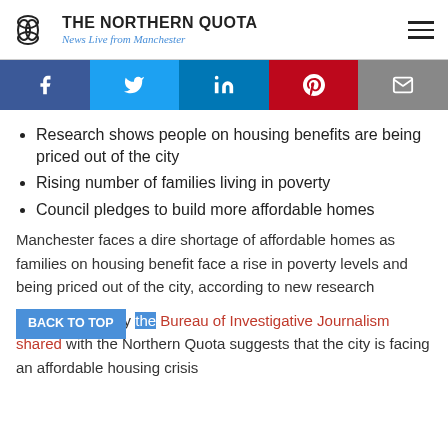THE NORTHERN QUOTA — News Live from Manchester
[Figure (infographic): Social media share buttons: Facebook, Twitter, LinkedIn, Pinterest, Email]
Research shows people on housing benefits are being priced out of the city
Rising number of families living in poverty
Council pledges to build more affordable homes
Manchester faces a dire shortage of affordable homes as families on housing benefit face a rise in poverty levels and being priced out of the city, according to new research
Data gathered by the Bureau of Investigative Journalism shared with the Northern Quota suggests that the city is facing an affordable housing crisis on the streets for people in housing benefits